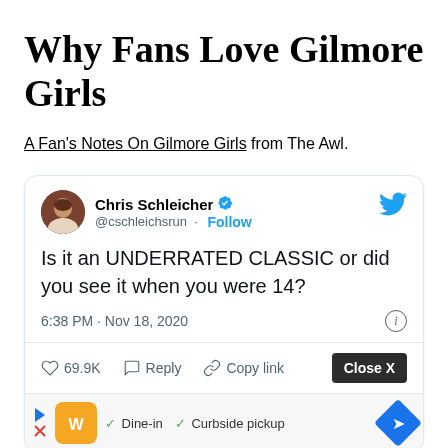Why Fans Love Gilmore Girls
A Fan's Notes On Gilmore Girls from The Awl.
[Figure (screenshot): Embedded tweet by Chris Schleicher (@cschleichsrun) with verified badge, with tweet text: 'Is it an UNDERRATED CLASSIC or did you see it when you were 14?' posted at 6:38 PM · Nov 18, 2020. Shows 69.9K likes, Reply and Copy link actions. Below is an ad bar with orange logo, 'Dine-in' and 'Curbside pickup' checkmarks, and a blue diamond navigation button. A 'Close X' button overlays the bottom right.]